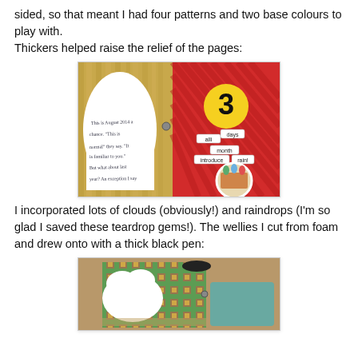sided, so that meant I had four patterns and two base colours to play with.
Thickers helped raise the relief of the pages:
[Figure (photo): A handmade scrapbook/mini book open to show two pages: left page has white cloud-shaped paper with handwritten text; right page is red with diagonal stripes, decorated with labels ('alli', 'days', 'month', 'introduce', 'rain!'), a yellow circle with a black number 3, and a circular photo of cartoon figures.]
I incorporated lots of clouds (obviously!) and raindrops (I'm so glad I saved these teardrop gems!). The wellies I cut from foam and drew onto with a thick black pen:
[Figure (photo): A handmade scrapbook/mini book page showing a white cloud shape on a patterned green/red geometric background, with teal/blue painted elements and a ring binder visible.]